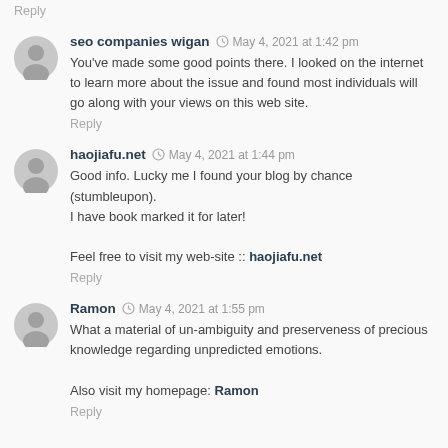Reply
seo companies wigan  May 4, 2021 at 1:42 pm
You've made some good points there. I looked on the internet to learn more about the issue and found most individuals will go along with your views on this web site.
Reply
haojiafu.net  May 4, 2021 at 1:44 pm
Good info. Lucky me I found your blog by chance (stumbleupon).
I have book marked it for later!

Feel free to visit my web-site :: haojiafu.net
Reply
Ramon  May 4, 2021 at 1:55 pm
What a material of un-ambiguity and preserveness of precious knowledge regarding unpredicted emotions.

Also visit my homepage: Ramon
Reply